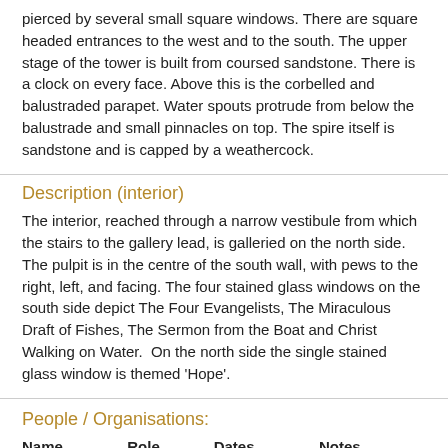pierced by several small square windows. There are square headed entrances to the west and to the south. The upper stage of the tower is built from coursed sandstone. There is a clock on every face. Above this is the corbelled and balustraded parapet. Water spouts protrude from below the balustrade and small pinnacles on top. The spire itself is sandstone and is capped by a weathercock.
Description (interior)
The interior, reached through a narrow vestibule from which the stairs to the gallery lead, is galleried on the north side.  The pulpit is in the centre of the south wall, with pews to the right, left, and facing. The four stained glass windows on the south side depict The Four Evangelists, The Miraculous Draft of Fishes, The Sermon from the Boat and Christ Walking on Water.  On the north side the single stained glass window is themed 'Hope'.
People / Organisations:
| Name | Role | Dates | Notes |
| --- | --- | --- | --- |